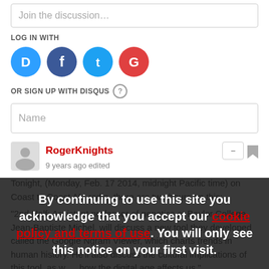Join the discussion…
LOG IN WITH
[Figure (illustration): Social login icons: Disqus (blue), Facebook (dark blue), Twitter (light blue), Google (red)]
OR SIGN UP WITH DISQUS ?
Name
RogerKnights
9 years ago edited
Tonight, (Monday, Feb. 17 2014, midnight Pacific time) on Coast to Coast AM radio, there are two hours on this:
"2nd Half: Assistant professor of genetics at Baylor College, Jean-Baptiste Michel, will discuss a new tool they developed called the Google Ngram Viewer, which charts trends in human history. He'll also discuss the cultural implications of this tool, as well as how the digital age affects us."
By continuing to use this site you acknowledge that you accept our cookie policy and terms of use. You will only see this notice on your first visit.